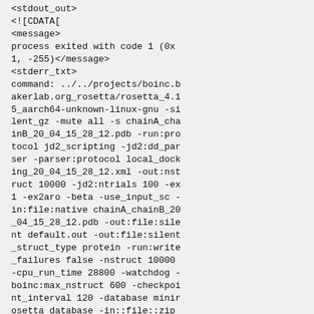<stdout_out>
<![CDATA[
<message>
process exited with code 1 (0x1, -255)</message>
<stderr_txt>
command: ../../projects/boinc.bakerlab.org_rosetta/rosetta_4.15_aarch64-unknown-linux-gnu -silent_gz -mute all -s chainA_chainB_20_04_15_28_12.pdb -run:protocol jd2_scripting -jd2:dd_parser -parser:protocol local_docking_20_04_15_28_12.xml -out:nstruct 10000 -jd2:ntrials 100 -ex1 -ex2aro -beta -use_input_sc -in:file:native chainA_chainB_20_04_15_28_12.pdb -out:file:silent default.out -out:file:silent_struct_type protein -run:write_failures false -nstruct 10000 -cpu_run_time 28800 -watchdog -boinc:max_nstruct 600 -checkpoint_interval 120 -database minirosetta_database -in::file::zip minirosetta_database.zip -boinc::watchdog -run::rng mt19937 -